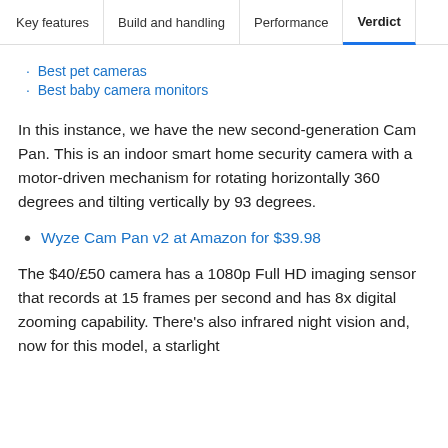Key features | Build and handling | Performance | Verdict
Best pet cameras
Best baby camera monitors
In this instance, we have the new second-generation Cam Pan. This is an indoor smart home security camera with a motor-driven mechanism for rotating horizontally 360 degrees and tilting vertically by 93 degrees.
Wyze Cam Pan v2 at Amazon for $39.98
The $40/£50 camera has a 1080p Full HD imaging sensor that records at 15 frames per second and has 8x digital zooming capability. There's also infrared night vision and, now for this model, a starlight